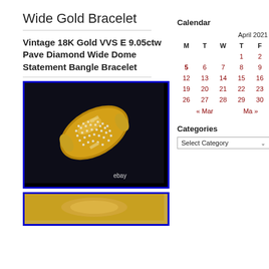Wide Gold Bracelet
Vintage 18K Gold VVS E 9.05ctw Pave Diamond Wide Dome Statement Bangle Bracelet
[Figure (photo): Gold diamond pave wide dome bangle bracelet on black background with 'ebay' watermark]
[Figure (photo): Second photo of gold bracelet, partially visible]
Calendar
| M | T | W | T | F |
| --- | --- | --- | --- | --- |
|  |  |  | 1 | 2 |
| 5 | 6 | 7 | 8 | 9 |
| 12 | 13 | 14 | 15 | 16 |
| 19 | 20 | 21 | 22 | 23 |
| 26 | 27 | 28 | 29 | 30 |
« Mar    Ma »
Categories
Select Category